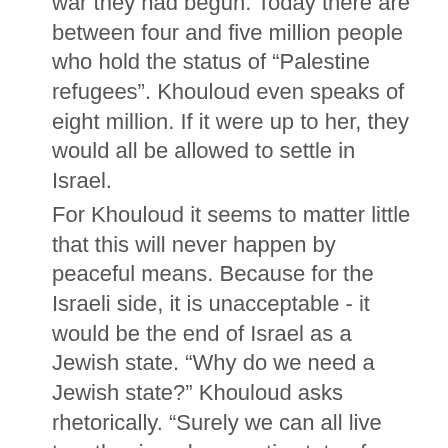war they had begun. Today there are between four and five million people who hold the status of "Palestine refugees". Khouloud even speaks of eight million. If it were up to her, they would all be allowed to settle in Israel.
For Khouloud it seems to matter little that this will never happen by peaceful means. Because for the Israeli side, it is unacceptable - it would be the end of Israel as a Jewish state. "Why do we need a Jewish state?" Khouloud asks rhetorically. "Surely we can all live together in a democratic state of Palestine." This would, she says, of course, have a "Palestinian majority. " And what would happen to the Jewish minority in such a state? "Such small things," says Khouloud, "are not important. For them a solution will